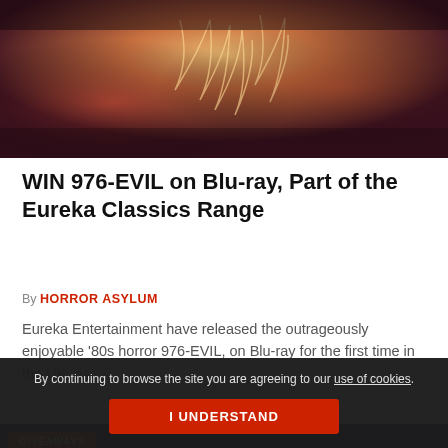[Figure (photo): Cropped horror movie image with warm tones, flames and dark background]
WIN 976-EVIL on Blu-ray, Part of the Eureka Classics Range
By HORROR ASYLUM
Eureka Entertainment have released the outrageously enjoyable '80s horror 976-EVIL, on Blu-ray for the first time in the UK, as...
[Figure (photo): Neon sign reading 'THE SPECIAL' on purple/dark background with GIVEAWAYS badge]
By continuing to browse the site you are agreeing to our use of cookies.
I UNDERSTAND